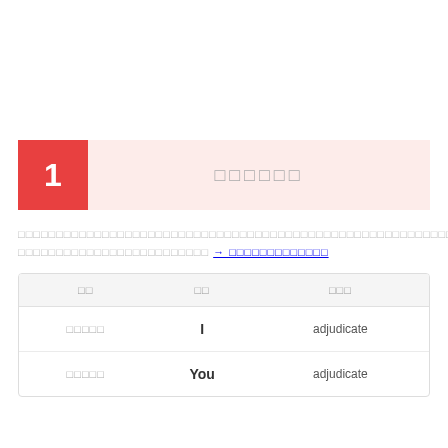1  □□□□□□
□□□□□□□□□□□□□□□□□□□□□□□□□□□□□□□□□□□□□□□□□□□□□□□□□□□□□□□□□□□□□□□□□□□□□□□□□□□□□□□□□□□□□□□□□□□□□□□□□□□□□□□□□□□□□□□□□□□□□□□□□□□□□□□□□□□□□□□□□□□□□□□□□□□□□□□□□□□□□□□□□□□□□□□□□□□□□□□□□□□□□□□□□□□□□□□□□□□□□□□□□□□□□□□□□□□□□□□□□□□□□□□□□□□□□□□□□□□□□□
| □□ | □□ | □□□ |
| --- | --- | --- |
| □□□□□ | I | adjudicate |
| □□□□□ | You | adjudicate |